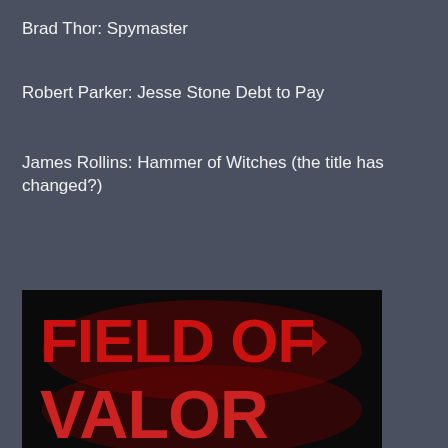Brad Thor: Spymaster
Robert Parker: Jesse Stone Debt to Pay
James Rollins: Hammer of Witches (the title has changed?)
[Figure (photo): Book cover showing bold red text 'FIELD OF VALOR' on a black background, partially cropped showing only 'FIELD OF' on top line and 'VALOR' partially visible on bottom line]